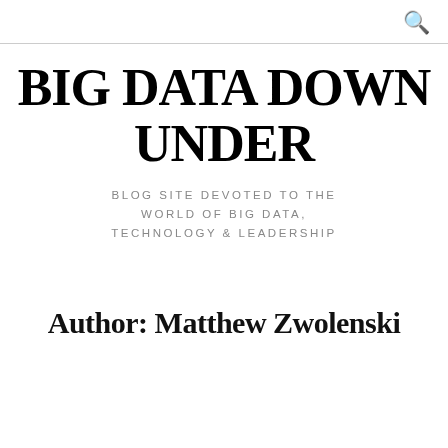BIG DATA DOWN UNDER
BLOG SITE DEVOTED TO THE WORLD OF BIG DATA, TECHNOLOGY & LEADERSHIP
Author: Matthew Zwolenski